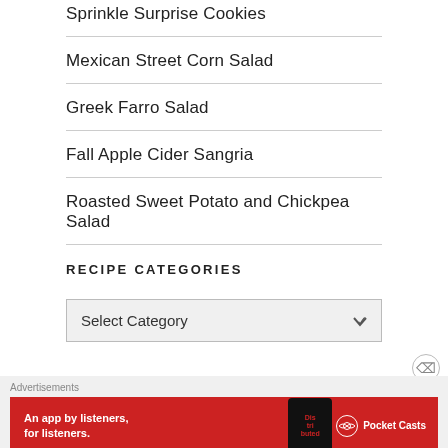Sprinkle Surprise Cookies
Mexican Street Corn Salad
Greek Farro Salad
Fall Apple Cider Sangria
Roasted Sweet Potato and Chickpea Salad
RECIPE CATEGORIES
Select Category
Advertisements
[Figure (other): Advertisement banner for Pocket Casts app: red background with phone graphic showing 'Distributed' text, white text reading 'An app by listeners, for listeners.' and Pocket Casts logo]